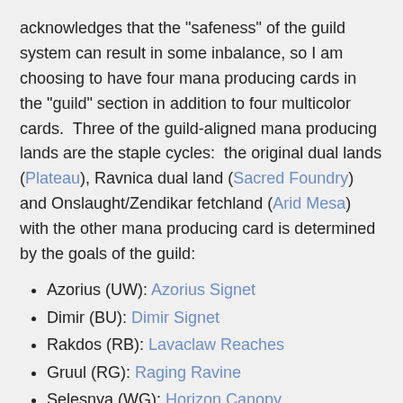acknowledges that the "safeness" of the guild system can result in some inbalance, so I am choosing to have four mana producing cards in the "guild" section in addition to four multicolor cards.  Three of the guild-aligned mana producing lands are the staple cycles:  the original dual lands (Plateau), Ravnica dual land (Sacred Foundry) and Onslaught/Zendikar fetchland (Arid Mesa) with the other mana producing card is determined by the goals of the guild:
Azorius (UW):  Azorius Signet
Dimir (BU):  Dimir Signet
Rakdos (RB):  Lavaclaw Reaches
Gruul (RG):  Raging Ravine
Selesnya (WG):  Horizon Canopy
Simic (UG):  Simic Signet